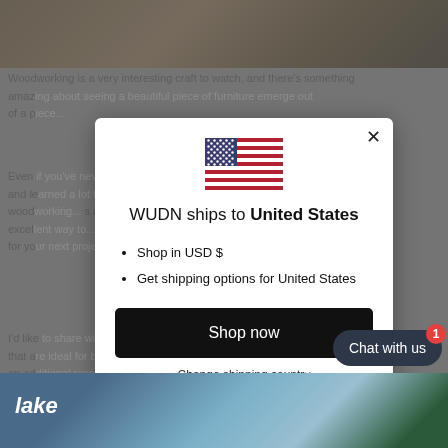[Figure (photo): Top portion of a webpage showing a woodworking tools photograph]
Woodworking is a very interesting craft to watch, and there's something amazing... out of a p...
Even... and le... wood... s an excel... e you for yo...
I'd like... that a... Have an ad... m.
[Figure (screenshot): Modal dialog: WUDN ships to United States, with US flag, bullet list items 'Shop in USD $' and 'Get shipping options for United States', a 'Shop now' black button, and 'Change shipping country' link]
[Figure (photo): Bottom image showing a person with glasses and outdoor/building scene]
Chat with us